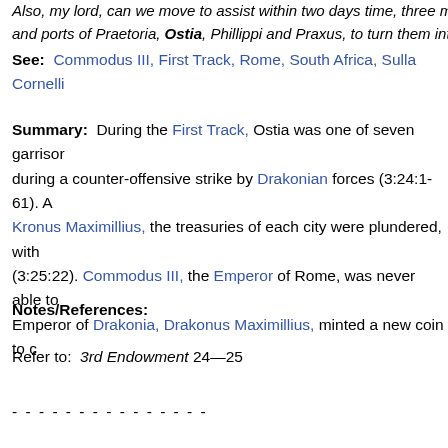Also, my lord, can we move to assist within two days time, three more fleets and ports of Praetoria, Ostia, Phillippi and Praxus, to turn them into heaps of r…
See:  Commodus III, First Track, Rome, South Africa, Sulla Cornelli…
Summary:  During the First Track, Ostia was one of seven garrison… during a counter-offensive strike by Drakonian forces (3:24:1-61). A… Kronus Maximillius, the treasuries of each city were plundered, with… (3:25:22). Commodus III, the Emperor of Rome, was never able to… Emperor of Drakonia, Drakonus Maximillius, minted a new coin to c…
Notes/References:
Refer to:  3rd Endowment 24—25
- - - - - - - - - - - - - - -